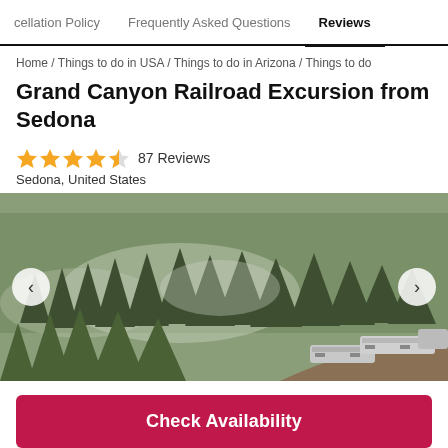cellation Policy / Frequently Asked Questions / Reviews
Home / Things to do in USA / Things to do in Arizona / Things to do
Grand Canyon Railroad Excursion from Sedona
87 Reviews
Sedona, United States
[Figure (photo): Aerial view of a train traveling through a forested landscape with pine trees and misty terrain, taken from above. A silver passenger train is visible on the lower right side of the image.]
Check Availability